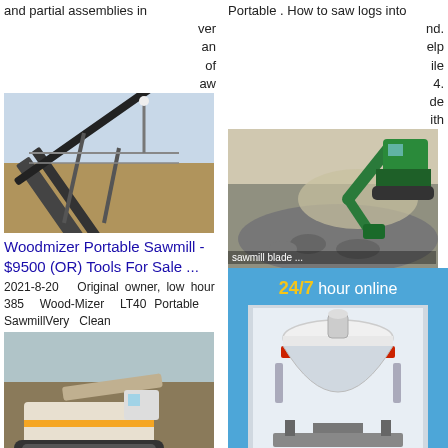and partial assemblies in
[Figure (photo): Industrial conveyor belt on hillside]
Woodmizer Portable Sawmill - $9500 (OR) Tools For Sale ...
2021-8-20  Original owner, low hour 385 Wood-Mizer LT40 Portable  SawmillVery  Clean
[Figure (photo): Mobile industrial machinery on rocky terrain]
Used Sawmills and Sawmill Equipment - USED PORTABLE SAWMILLS
AttachmentBlade Siding Sharpener1 Box of new blades1 Box mixed sharpened
Portable . How to saw logs into
[Figure (photo): Excavator loading rocks at quarry]
Used Kockums for Sale in Oregon - Sawmill Exchange ...
Oregon. O... 800-459-2... Used: Sto...
[Figure (photo): Drilling equipment at mining site]
Sawmills and Sawmill Equipment - Listings
[Figure (advertisement): 24/7 hour online chat ad with cone crusher image, Click me to chat>>, Enquiry, limingjlmofen]